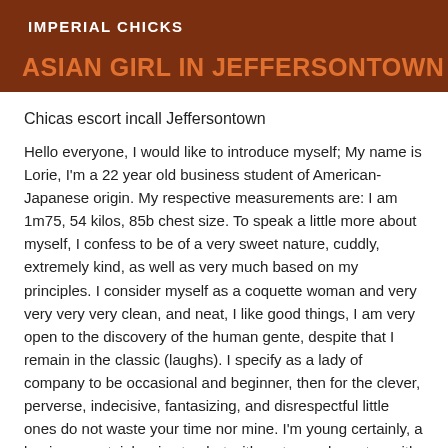IMPERIAL CHICKS
ASIAN GIRL IN JEFFERSONTOWN
Chicas escort incall Jeffersontown
Hello everyone, I would like to introduce myself; My name is Lorie, I'm a 22 year old business student of American-Japanese origin. My respective measurements are: I am 1m75, 54 kilos, 85b chest size. To speak a little more about myself, I confess to be of a very sweet nature, cuddly, extremely kind, as well as very much based on my principles. I consider myself as a coquette woman and very very very very clean, and neat, I like good things, I am very open to the discovery of the human gente, despite that I remain in the classic (laughs). I specify as a lady of company to be occasional and beginner, then for the clever, perverse, indecisive, fantasizing, and disrespectful little ones do not waste your time nor mine. I'm young certainly, a beginner certainly, nice too but with a strong character, with good